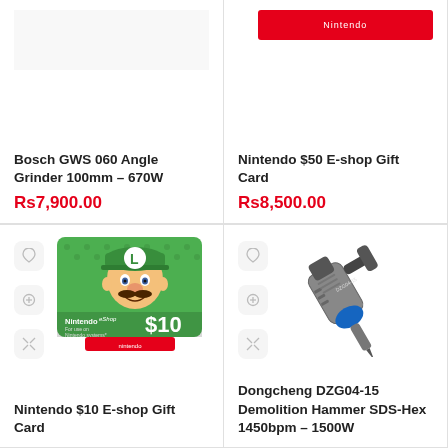[Figure (screenshot): Bosch GWS 060 Angle Grinder product listing card (top portion, image cut off at top)]
Bosch GWS 060 Angle Grinder 100mm – 670W
Rs7,900.00
[Figure (screenshot): Nintendo $50 E-shop Gift Card product listing card (top portion, image cut off at top)]
Nintendo $50 E-shop Gift Card
Rs8,500.00
[Figure (screenshot): Nintendo $10 E-shop Gift Card showing Luigi character on green gift card with Nintendo eShop branding and $10 amount]
Nintendo $10 E-shop Gift Card
[Figure (screenshot): Dongcheng DZG04-15 Demolition Hammer SDS-Hex product image showing silver/black heavy-duty demolition hammer]
Dongcheng DZG04-15 Demolition Hammer SDS-Hex 1450bpm – 1500W